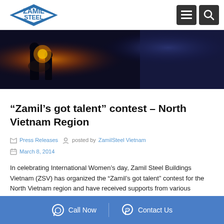Zamil Steel
[Figure (photo): Dark concert/performance scene with orange/yellow light and blue-purple background, silhouette of performers on stage]
“Zamil’s got talent” contest – North Vietnam Region
Press Releases  posted by ZamilSteel Vietnam
March 8, 2014
In celebrating International Women’s day, Zamil Steel Buildings Vietnam (ZSV) has organized the “Zamil’s got talent” contest for the North Vietnam region and have received supports from various departments. The final round of the contest was held on the
Call Now   Contact Us